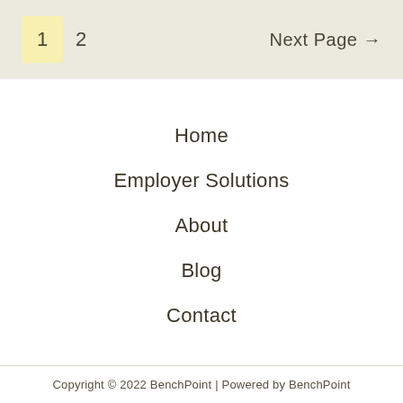1  2  Next Page →
Home
Employer Solutions
About
Blog
Contact
Copyright © 2022 BenchPoint | Powered by BenchPoint